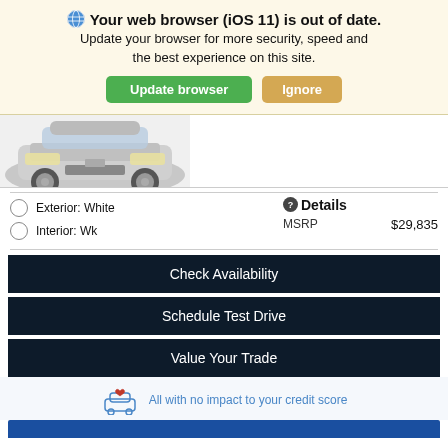Your web browser (iOS 11) is out of date. Update your browser for more security, speed and the best experience on this site. Update browser | Ignore
[Figure (photo): Partial front view of a silver/white car, cropped at the bottom of a browser notification banner]
Details
Exterior: White
Interior: Wk
MSRP $29,835
Check Availability
Schedule Test Drive
Value Your Trade
All with no impact to your credit score